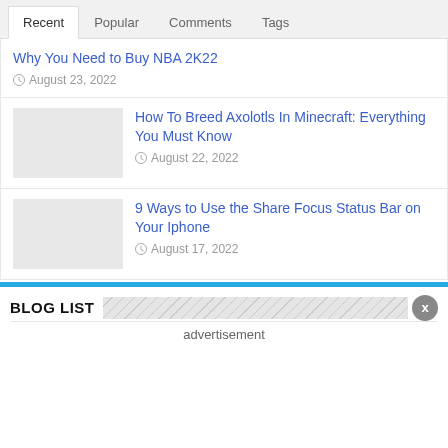Recent | Popular | Comments | Tags
Why You Need to Buy NBA 2K22 — August 23, 2022
How To Breed Axolotls In Minecraft: Everything You Must Know — August 22, 2022
9 Ways to Use the Share Focus Status Bar on Your Iphone — August 17, 2022
BLOG LIST
advertisement